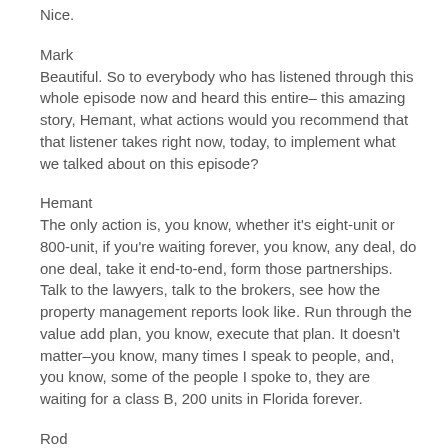Nice.
Mark
Beautiful. So to everybody who has listened through this whole episode now and heard this entire– this amazing story, Hemant, what actions would you recommend that that listener takes right now, today, to implement what we talked about on this episode?
Hemant
The only action is, you know, whether it's eight-unit or 800-unit, if you're waiting forever, you know, any deal, do one deal, take it end-to-end, form those partnerships. Talk to the lawyers, talk to the brokers, see how the property management reports look like. Run through the value add plan, you know, execute that plan. It doesn't matter–you know, many times I speak to people, and, you know, some of the people I spoke to, they are waiting for a class B, 200 units in Florida forever.
Rod
Right.